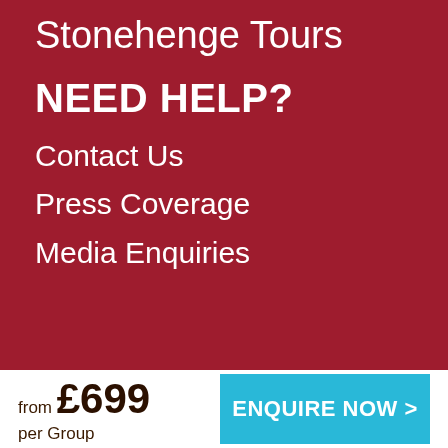Stonehenge Tours
NEED HELP?
Contact Us
Press Coverage
Media Enquiries
from £699 per Group
ENQUIRE NOW >